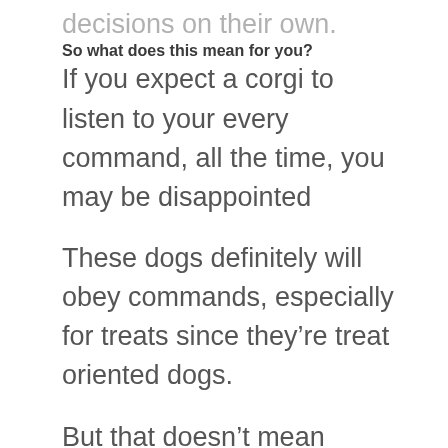decisions on their own.
So what does this mean for you?
If you expect a corgi to listen to your every command, all the time, you may be disappointed
These dogs definitely will obey commands, especially for treats since they're treat oriented dogs.
But that doesn't mean they'll always listen to everything you say. They can think for themselves and do their own things.